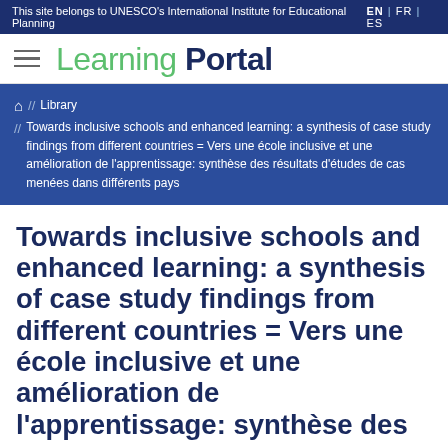This site belongs to UNESCO's International Institute for Educational Planning | EN | FR | ES
Learning Portal
⌂ // Library // Towards inclusive schools and enhanced learning: a synthesis of case study findings from different countries = Vers une école inclusive et une amélioration de l'apprentissage: synthèse des résultats d'études de cas menées dans différents pays
Towards inclusive schools and enhanced learning: a synthesis of case study findings from different countries = Vers une école inclusive et une amélioration de l'apprentissage: synthèse des